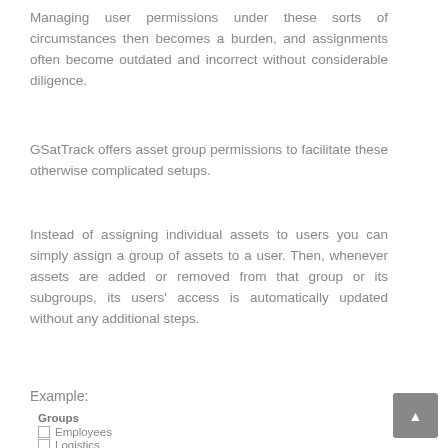Managing user permissions under these sorts of circumstances then becomes a burden, and assignments often become outdated and incorrect without considerable diligence.
GSatTrack offers asset group permissions to facilitate these otherwise complicated setups.
Instead of assigning individual assets to users you can simply assign a group of assets to a user. Then, whenever assets are added or removed from that group or its subgroups, its users' access is automatically updated without any additional steps.
Example:
[Figure (screenshot): Groups panel showing: Groups heading, Employees (unchecked), Logistics (unchecked), East Coast (checked)]